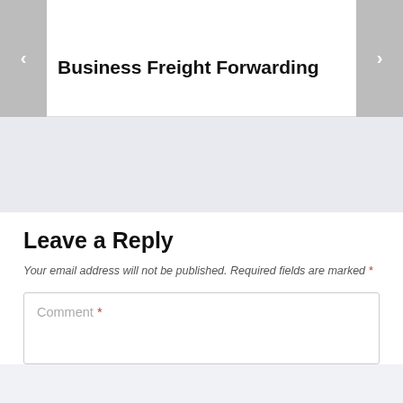Business Freight Forwarding
Leave a Reply
Your email address will not be published. Required fields are marked *
Comment *